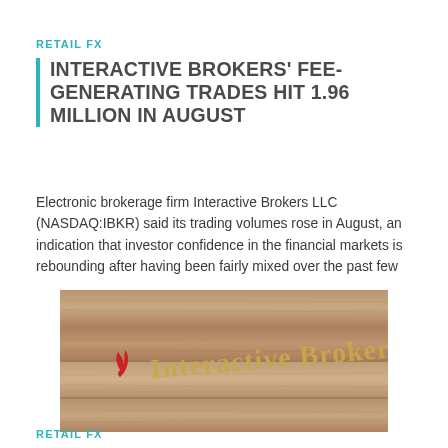RETAIL FX
INTERACTIVE BROKERS' FEE-GENERATING TRADES HIT 1.96 MILLION IN AUGUST
Electronic brokerage firm Interactive Brokers LLC (NASDAQ:IBKR) said its trading volumes rose in August, an indication that investor confidence in the financial markets is rebounding after having been fairly mixed over the past few
[Figure (photo): Photo of an Interactive Brokers logo sign mounted on a wooden wall, with gold lettering and a red flame/teardrop icon to the left of the text.]
RETAIL FX